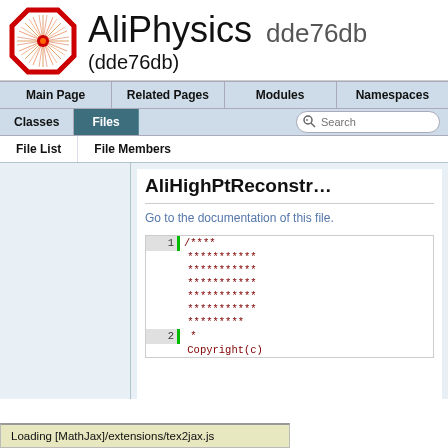AliPhysics dde76db (dde76db)
Main Page | Related Pages | Modules | Namespaces | Classes | Files | Search
File List | File Members
AliHighPtReconstru...
Go to the documentation of this file.
1  /****
 * ***********
 * ***********
 * ***********
 * ***********
 * ***********
 * *********
2  *
   Copyright(c)